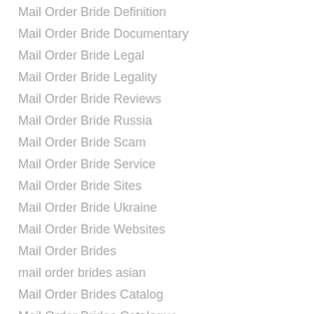Mail Order Bride Definition
Mail Order Bride Documentary
Mail Order Bride Legal
Mail Order Bride Legality
Mail Order Bride Reviews
Mail Order Bride Russia
Mail Order Bride Scam
Mail Order Bride Service
Mail Order Bride Sites
Mail Order Bride Ukraine
Mail Order Bride Websites
Mail Order Brides
mail order brides asian
Mail Order Brides Catalog
Mail Order Brides Catalogue
Mail Order Brides From Latin
mail order brides from russia
mail order brides latin